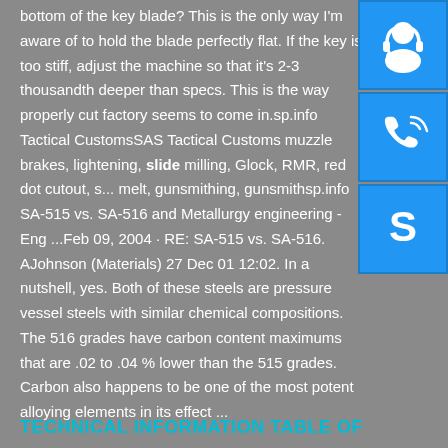bottom of the key blade? This is the only way I'm aware of to hold the blade perfectly flat. If the key is too stiff, adjust the machine so that it's 2-3 thousandth deeper than specs. This is the way properly cut factory seems to come in.sp.info Tactical CustomsSAS Tactical Customs muzzle brakes, lightening, slide milling, Glock, RMR, red dot cutout, s... melt, gunsmithing, gunsmithsp.info SA-515 vs. SA-516 and Metallurgy engineering - Eng ...Feb 09, 2004 · RE: SA-515 vs. SA-516. AJohnson (Materials) 27 Dec 01 12:02. In a nutshell, yes. Both of these steels are pressure vessel steels with similar chemical compositions. The 516 grades have carbon content maximums that are .02 to .04 % lower than the 515 grades. Carbon also happens to be one of the most potent alloying elements in its effect ...
[Figure (infographic): Three blue square icons stacked vertically on the right side: headset/customer support icon, phone call icon, and Skype icon]
TECHNICAL INFORMATION TABLE OF